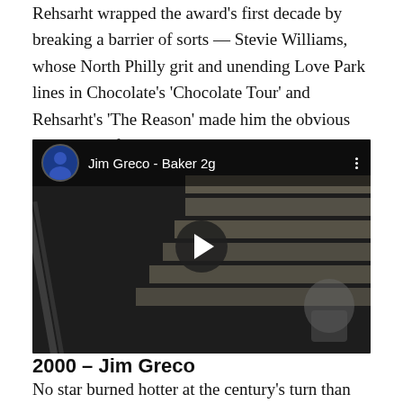Rehsarht wrapped the award's first decade by breaking a barrier of sorts — Stevie Williams, whose North Philly grit and unending Love Park lines in Chocolate's 'Chocolate Tour' and Rehsarht's 'The Reason' made him the obvious SOTY pick for 1999.
[Figure (screenshot): YouTube video embed showing 'Jim Greco - Baker 2g' with a skateboarding scene on stairs, play button in center]
2000 – Jim Greco
No star burned hotter at the century's turn than Jim Greco